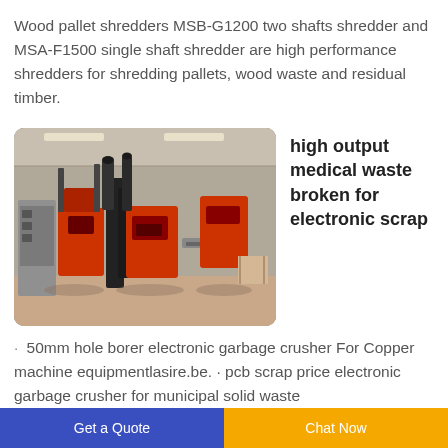Wood pallet shredders MSB-G1200 two shafts shredder and MSA-F1500 single shaft shredder are high performance shredders for shredding pallets, wood waste and residual timber.
[Figure (photo): Industrial shredder machines in a factory/warehouse setting. Large red and grey machinery with conveyor systems visible. High ceiling warehouse with natural lighting.]
high output medical waste broken for electronic scrap
· 50mm hole borer electronic garbage crusher For Copper machine equipmentlasire.be. · pcb scrap price electronic garbage crusher for municipal solid waste
Get a Quote
Chat Now